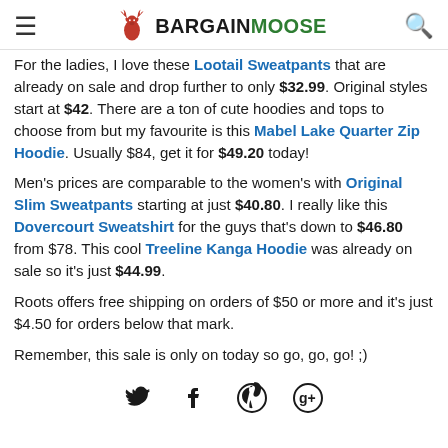BARGAINMOOSE
For the ladies, I love these Lootail Sweatpants that are already on sale and drop further to only $32.99. Original styles start at $42. There are a ton of cute hoodies and tops to choose from but my favourite is this Mabel Lake Quarter Zip Hoodie. Usually $84, get it for $49.20 today!
Men's prices are comparable to the women's with Original Slim Sweatpants starting at just $40.80. I really like this Dovercourt Sweatshirt for the guys that's down to $46.80 from $78. This cool Treeline Kanga Hoodie was already on sale so it's just $44.99.
Roots offers free shipping on orders of $50 or more and it's just $4.50 for orders below that mark.
Remember, this sale is only on today so go, go, go! ;)
[Figure (other): Social media share icons: Twitter, Facebook, Pinterest, Google+]